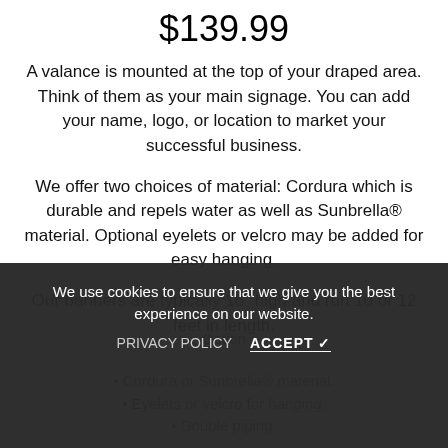$139.99
A valance is mounted at the top of your draped area. Think of them as your main signage. You can add your name, logo, or location to market your successful business.
We offer two choices of material: Cordura which is durable and repels water as well as Sunbrella® material. Optional eyelets or velcro may be added for easy hanging.
Our banners are typically 16" high and run 10 or 12 feet in length.
Option
Cordura or Sunbrella® material
Eyelets or velcro for hanging.
Double piping.
We use cookies to ensure that we give you the best experience on our website.
PRIVACY POLICY   ACCEPT ✓